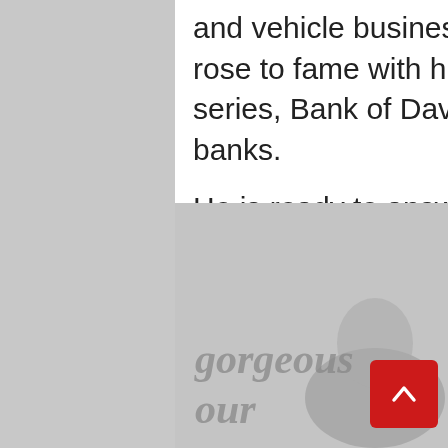and vehicle business based in Lancashire and rose to fame with his BAFTA-winning television series, Bank of Dave, which saw him battle the big banks.
He is ready to answer your questions, whether you own a business, thinking about starting one or have general career questions.
In his spare time, he likes to give talks to inspire people to be the best they can.
[Figure (photo): Partial view of a magazine or printed publication in greyscale, showing decorative floral elements and partial text reading 'gorgeous' and 'our'.]